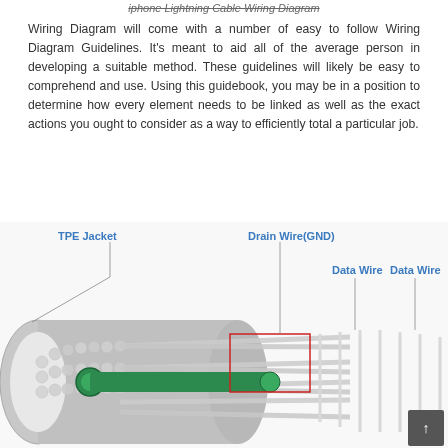iphone Lightning Cable Wiring Diagram
Wiring Diagram will come with a number of easy to follow Wiring Diagram Guidelines. It's meant to aid all of the average person in developing a suitable method. These guidelines will likely be easy to comprehend and use. Using this guidebook, you may be in a position to determine how every element needs to be linked as well as the exact actions you ought to consider as a way to efficiently total a particular job.
[Figure (engineering-diagram): Cross-section diagram of an iPhone Lightning cable showing internal wiring components: TPE Jacket (outer gray sleeve), Drain Wire (GND) with a red rectangular callout box, and two Data Wires on the right side. Multiple silver/white stranded wires and a green insulated wire are visible inside the cable cross-section.]